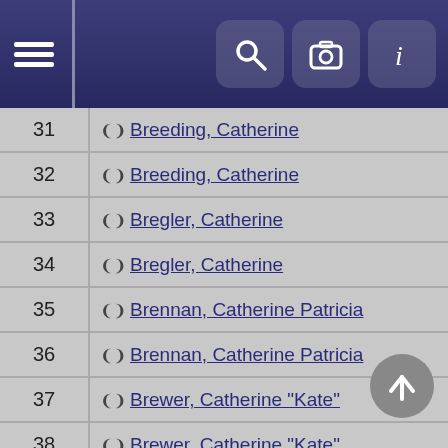Navigation header with menu, search, camera, and info icons
| # | Name |
| --- | --- |
| 31 | Breeding, Catherine |
| 32 | Breeding, Catherine |
| 33 | Bregler, Catherine |
| 34 | Bregler, Catherine |
| 35 | Brennan, Catherine Patricia |
| 36 | Brennan, Catherine Patricia |
| 37 | Brewer, Catherine "Kate" |
| 38 | Brewer, Catherine "Kate" |
| 39 | Brown, Catherine Frances |
| 40 | Brown, Catherine Frances |
| 41 | Bruce, Catherine |
| 42 | Bryant, Catherine Vandine |